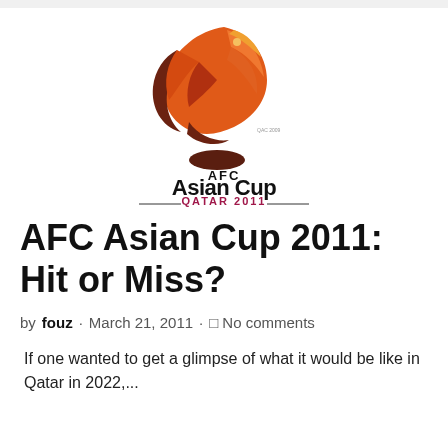[Figure (logo): AFC Asian Cup Qatar 2011 logo — a falcon/bird graphic in orange and brown over a circle, with 'AFC Asian Cup QATAR 2011' text]
AFC Asian Cup 2011: Hit or Miss?
by fouz · March 21, 2011 · No comments
If one wanted to get a glimpse of what it would be like in Qatar in 2022,...